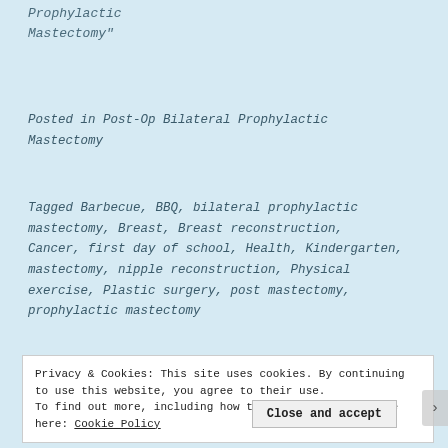Prophylactic Mastectomy"
Posted in Post-Op Bilateral Prophylactic Mastectomy
Tagged Barbecue, BBQ, bilateral prophylactic mastectomy, Breast, Breast reconstruction, Cancer, first day of school, Health, Kindergarten, mastectomy, nipple reconstruction, Physical exercise, Plastic surgery, post mastectomy, prophylactic mastectomy
Privacy & Cookies: This site uses cookies. By continuing to use this website, you agree to their use. To find out more, including how to control cookies, see here: Cookie Policy
Close and accept